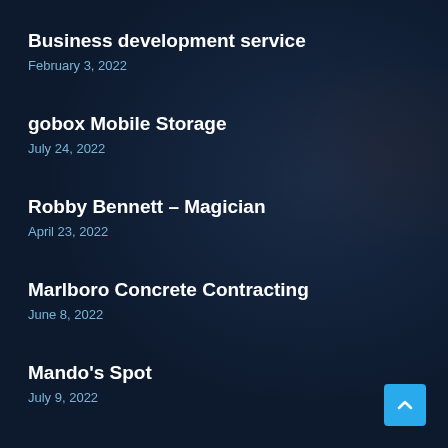Business development service
February 3, 2022
gobox Mobile Storage
July 24, 2022
Robby Bennett – Magician
April 23, 2022
Marlboro Concrete Contracting
June 8, 2022
Mando's Spot
July 9, 2022